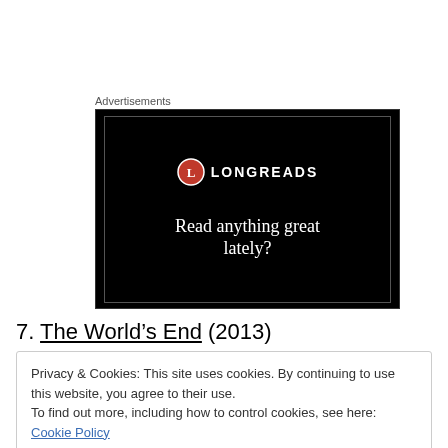Advertisements
[Figure (screenshot): Longreads advertisement banner with black background, red circle logo with 'L', brand name 'LONGREADS', and tagline 'Read anything great lately?']
7. The World's End (2013)
Privacy & Cookies: This site uses cookies. By continuing to use this website, you agree to their use.
To find out more, including how to control cookies, see here: Cookie Policy
Close and accept
[Figure (photo): Partial thumbnail image at bottom of page, dark toned photo]